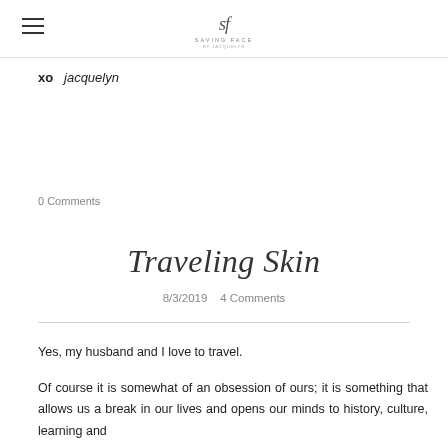Saving Face [logo]
xo  jacquelyn
0 Comments
Traveling Skin
8/3/2019   4 Comments
Yes, my husband and I love to travel.
Of course it is somewhat of an obsession of ours; it is something that allows us a break in our lives and opens our minds to history, culture, learning and